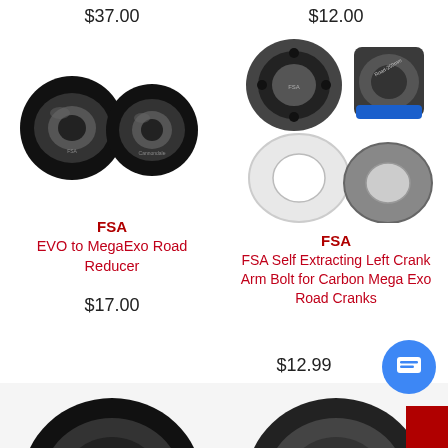$37.00
$12.00
[Figure (photo): Two black FSA EVO to MegaExo Road Reducer bearing cups]
[Figure (photo): FSA Self Extracting Left Crank Arm Bolt parts for Carbon Mega Exo Road Cranks - showing bolt cap, bolt, white washer, and grey washer]
FSA
EVO to MegaExo Road Reducer
$17.00
FSA
FSA Self Extracting Left Crank Arm Bolt for Carbon Mega Exo Road Cranks
$12.99
[Figure (photo): Partial view of a black cycling component at bottom left]
[Figure (photo): Partial view of a cycling component at bottom right]